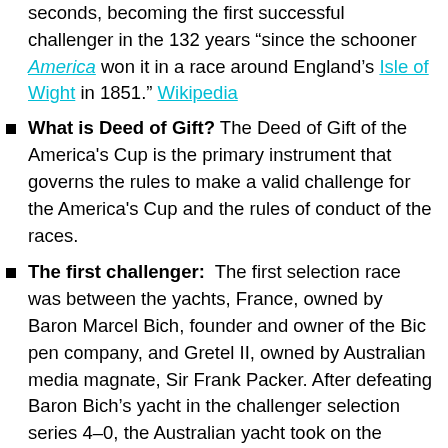seconds, becoming the first successful challenger in the 132 years “since the schooner America won it in a race around England’s Isle of Wight in 1851.” Wikipedia
What is Deed of Gift? The Deed of Gift of the America’s Cup is the primary instrument that governs the rules to make a valid challenge for the America’s Cup and the rules of conduct of the races.
The first challenger: The first selection race was between the yachts, France, owned by Baron Marcel Bich, founder and owner of the Bic pen company, and Gretel II, owned by Australian media magnate, Sir Frank Packer. After defeating Baron Bich’s yacht in the challenger selection series 4–0, the Australian yacht took on the American defender, Intrepid, skippered by Bill Ficker in a best-of-seven race series for the America’s Cup. Intrepid won the first race when Gretel II’s David Forbes was swept overboard but managed to hang onto the sail and scramble back on board. Then in a controversial second race, Gretel II crossed the finish line 1 minute 7 seconds